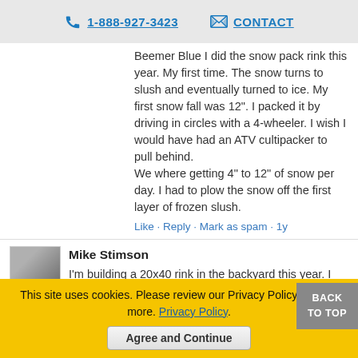1-888-927-3423  CONTACT
Beemer Blue I did the snow pack rink this year. My first time. The snow turns to slush and eventually turned to ice. My first snow fall was 12". I packed it by driving in circles with a 4-wheeler. I wish I would have had an ATV cultipacker to pull behind.
We where getting 4" to 12" of snow per day. I had to plow the snow off the first layer of frozen slush.
Like · Reply · Mark as spam · 1y
Mike Stimson
I'm building a 20x40 rink in the backyard this year. I have some old pallets I'll use for boards, but your rink boards would make it look awesome. Maybe next year 🙂 Heres mine https://www.augustdecemberhome.com/.../outdoor-skating...
BACK TO TOP
This site uses cookies. Please review our Privacy Policy to learn more. Privacy Policy.
Agree and Continue